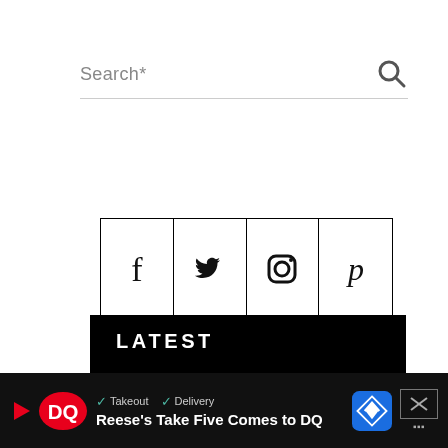Search*
[Figure (illustration): Social media icon grid with 4 cells: Facebook (f), Twitter (bird), Instagram (camera), Pinterest (p)]
LATEST
Takeout  Delivery
Reese's Take Five Comes to DQ